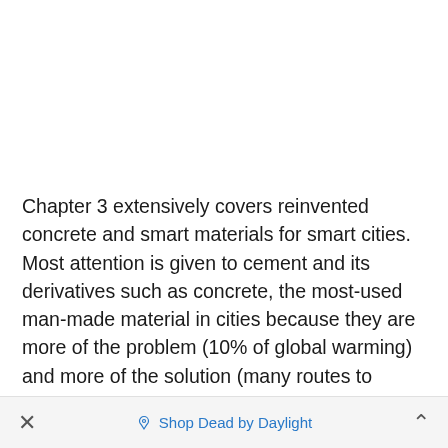Chapter 3 extensively covers reinvented concrete and smart materials for smart cities. Most attention is given to cement and its derivatives such as concrete, the most-used man-made material in cities because they are more of the problem (10% of global warming) and more of the solution (many routes to decarbonization, higher strength very long life means less needed and least carbon of all, 3D printed buildings and more). However, 10 of its 42 very detailed pages cover the
× Shop Dead by Daylight ^